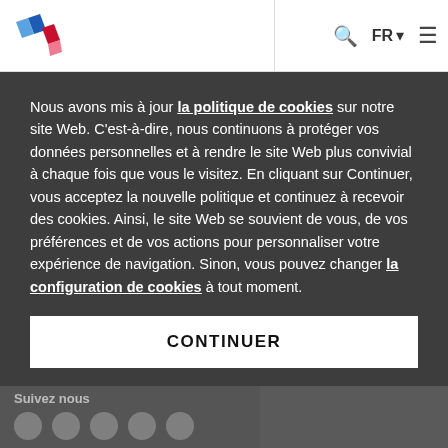[Figure (logo): Company logo with blue and red diamond shapes]
FR  ☰
Équipement
Offres d'emploi
Notre histoire
Contacts
Nous avons mis à jour la politique de cookies sur notre site Web. C'est-à-dire, nous continuons à protéger vos données personnelles et à rendre le site Web plus convivial à chaque fois que vous le visitez. En cliquant sur Continuer, vous acceptez la nouvelle politique et continuez à recevoir des cookies. Ainsi, le site Web se souvient de vous, de vos préférences et de vos actions pour personnaliser votre expérience de navigation. Sinon, vous pouvez changer la configuration de cookies à tout moment.
CONTINUER